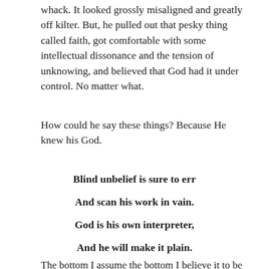whack. It looked grossly misaligned and greatly off kilter. But, he pulled out that pesky thing called faith, got comfortable with some intellectual dissonance and the tension of unknowing, and believed that God had it under control. No matter what.
How could he say these things? Because He knew his God.
Blind unbelief is sure to err
And scan his work in vain.
God is his own interpreter,
And he will make it plain.
The bottom I assume the bottom I believe it to be